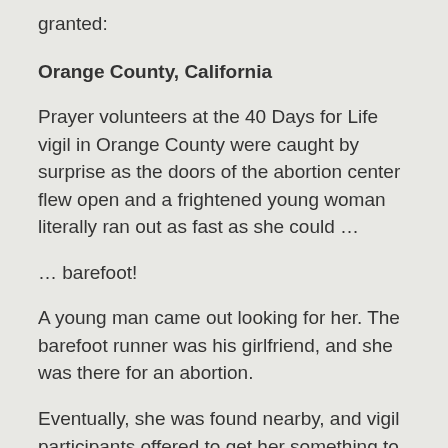granted:
Orange County, California
Prayer volunteers at the 40 Days for Life vigil in Orange County were caught by surprise as the doors of the abortion center flew open and a frightened young woman literally ran out as fast as she could …
… barefoot!
A young man came out looking for her. The barefoot runner was his girlfriend, and she was there for an abortion.
Eventually, she was found nearby, and vigil participants offered to get her something to eat. When they sat down to their meal, the young woman told her story.